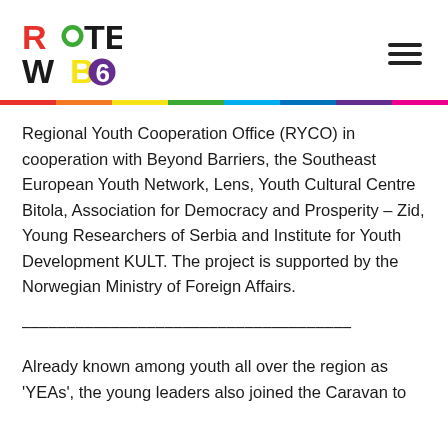ROUTE WB6 logo and hamburger menu
Regional Youth Cooperation Office (RYCO) in cooperation with Beyond Barriers, the Southeast European Youth Network, Lens, Youth Cultural Centre Bitola, Association for Democracy and Prosperity – Zid, Young Researchers of Serbia and Institute for Youth Development KULT. The project is supported by the Norwegian Ministry of Foreign Affairs.
——————————————————————
Already known among youth all over the region as 'YEAs', the young leaders also joined the Caravan to